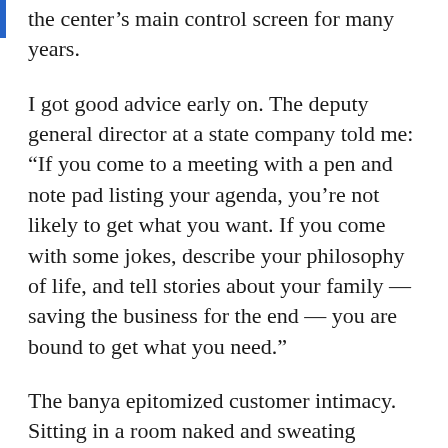the center's main control screen for many years.
I got good advice early on. The deputy general director at a state company told me: “If you come to a meeting with a pen and note pad listing your agenda, you’re not likely to get what you want. If you come with some jokes, describe your philosophy of life, and tell stories about your family — saving the business for the end — you are bound to get what you need.”
The banya epitomized customer intimacy. Sitting in a room naked and sweating together, you were bound to bond — even if your note pad got soggy.